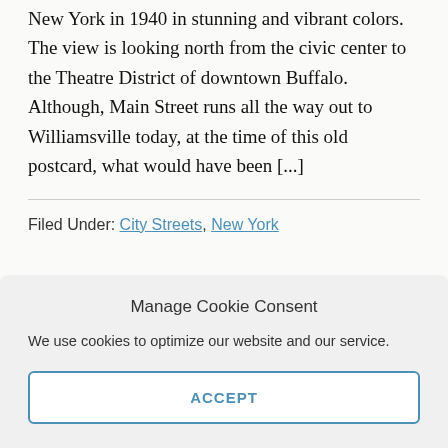New York in 1940 in stunning and vibrant colors. The view is looking north from the civic center to the Theatre District of downtown Buffalo. Although, Main Street runs all the way out to Williamsville today, at the time of this old postcard, what would have been [...]
Filed Under: City Streets, New York
Manage Cookie Consent
We use cookies to optimize our website and our service.
ACCEPT